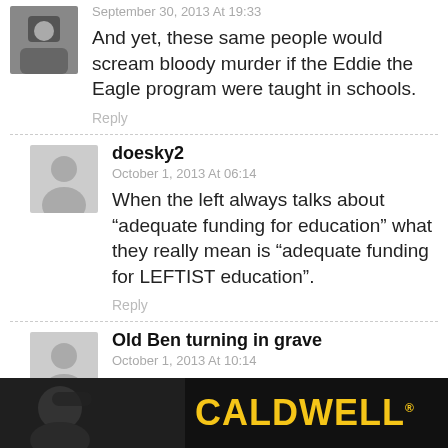[Figure (photo): Small user avatar photo of a person]
September 30, 2013 At 19:33
And yet, these same people would scream bloody murder if the Eddie the Eagle program were taught in schools.
Reply
[Figure (illustration): Default grey user avatar silhouette for doesky2]
doesky2
October 1, 2013 At 06:14
When the left always talks about “adequate funding for education” what they really mean is “adequate funding for LEFTIST education”.
Reply
[Figure (illustration): Default grey user avatar silhouette for Old Ben turning in grave]
Old Ben turning in grave
October 1, 2013 At 10:14
t the Federal ve have more
[Figure (photo): Caldwell advertisement banner with person wearing headphones and yellow CALDWELL logo text]